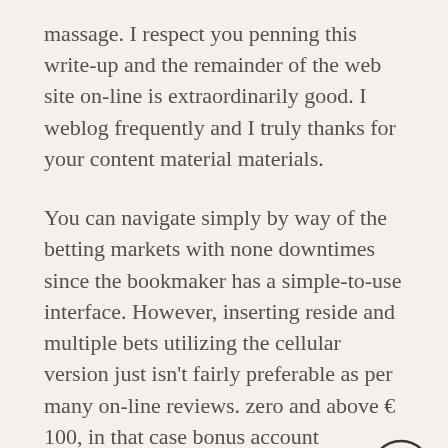massage. I respect you penning this write-up and the remainder of the web site on-line is extraordinarily good. I weblog frequently and I truly thanks for your content material materials.
You can navigate simply by way of the betting markets with none downtimes since the bookmaker has a simple-to-use interface. However, inserting reside and multiple bets utilizing the cellular version just isn't fairly preferable as per many on-line reviews. zero and above € 100, in that case bonus account steadiness in case of success there might be a